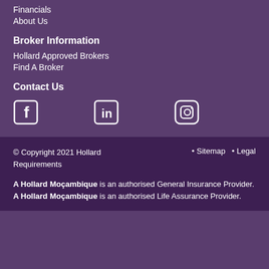Financials
About Us
Broker Information
Hollard Approved Brokers
Find A Broker
Contact Us
[Figure (illustration): Social media icons: Facebook, LinkedIn, Instagram]
© Copyright 2021 Hollard Requirements • Sitemap • Legal Requirements
A Hollard Moçambique is an authorised General Insurance Provider. A Hollard Moçambique is an authorised Life Assurance Provider.